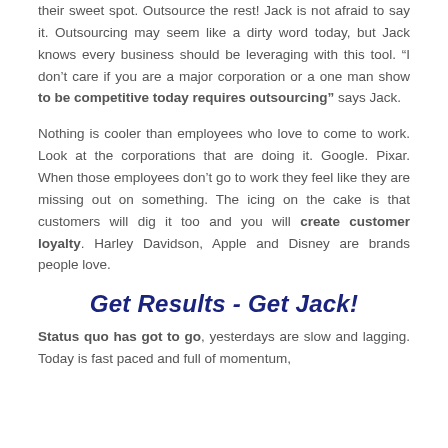their sweet spot. Outsource the rest! Jack is not afraid to say it. Outsourcing may seem like a dirty word today, but Jack knows every business should be leveraging with this tool. “I don’t care if you are a major corporation or a one man show to be competitive today requires outsourcing” says Jack.
Nothing is cooler than employees who love to come to work. Look at the corporations that are doing it. Google. Pixar. When those employees don’t go to work they feel like they are missing out on something. The icing on the cake is that customers will dig it too and you will create customer loyalty. Harley Davidson, Apple and Disney are brands people love.
Get Results - Get Jack!
Status quo has got to go, yesterdays are slow and lagging. Today is fast paced and full of momentum,